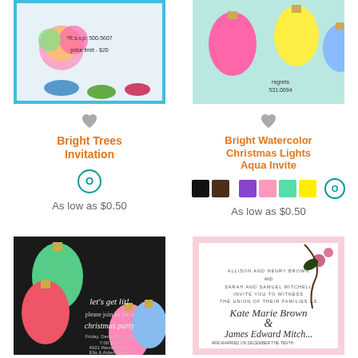[Figure (photo): Bright Trees Invitation card with colorful flower arrangement]
Bright Trees Invitation
[Figure (illustration): Teal square with O icon representing single color option]
As low as $0.50
[Figure (photo): Bright Watercolor Christmas Lights Aqua Invite card]
Bright Watercolor Christmas Lights Aqua Invite
[Figure (illustration): Color swatches: black, dark brown, purple, pink, mint, yellow, and teal O icon]
As low as $0.50
[Figure (photo): Christmas party invitation with colorful light bulbs on black background]
[Figure (photo): Elegant wedding invitation with floral scrollwork for Kate Marie Brown and James Edward Mitchell]